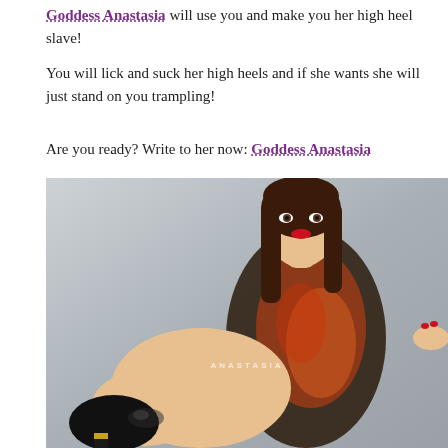Goddess Anastasia will use you and make you her high heel slave!
You will lick and suck her high heels and if she wants she will just stand on you trampling!
Are you ready? Write to her now: Goddess Anastasia
[Figure (photo): Woman with long brown hair, wearing a dark patterned bodysuit, posing with a black high heel shoe extended toward the camera. Watermark reads ANASTASIA.]